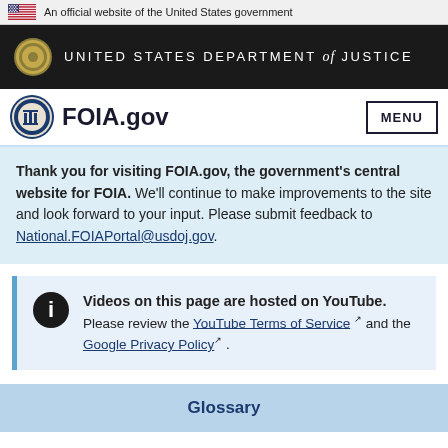An official website of the United States government
[Figure (logo): United States Department of Justice header bar with DOJ seal and text]
[Figure (logo): FOIA.gov navigation bar with DOJ seal logo and MENU button]
Thank you for visiting FOIA.gov, the government's central website for FOIA. We'll continue to make improvements to the site and look forward to your input. Please submit feedback to National.FOIAPortal@usdoj.gov.
Videos on this page are hosted on YouTube. Please review the YouTube Terms of Service and the Google Privacy Policy .
Glossary